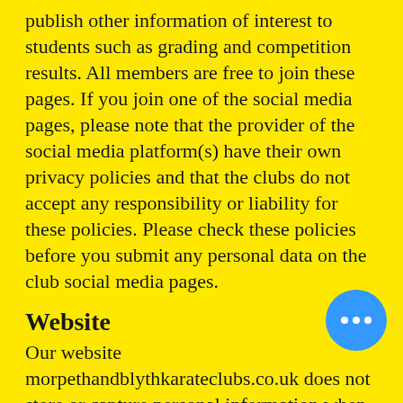publish other information of interest to students such as grading and competition results. All members are free to join these pages. If you join one of the social media pages, please note that the provider of the social media platform(s) have their own privacy policies and that the clubs do not accept any responsibility or liability for these policies. Please check these policies before you submit any personal data on the club social media pages.
Website
Our website morpethandblythkarateclubs.co.uk does not store or capture personal information when you access it as a visitor.